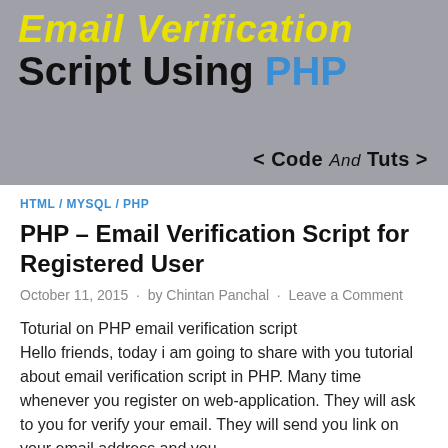[Figure (illustration): Banner image with gray background showing 'Email Verification Script Using PHP' text in yellow italic and black bold fonts, with 'PHP' in blue. Bottom right shows '< Code And Tuts >' branding.]
HTML / MYSQL / PHP
PHP – Email Verification Script for Registered User
October 11, 2015  ·  by Chintan Panchal  ·  Leave a Comment
Toturial on PHP email verification script
Hello friends, today i am going to share with you tutorial about email verification script in PHP. Many time whenever you register on web-application. They will ask to you for verify your email. They will send you link on your email address and you ...